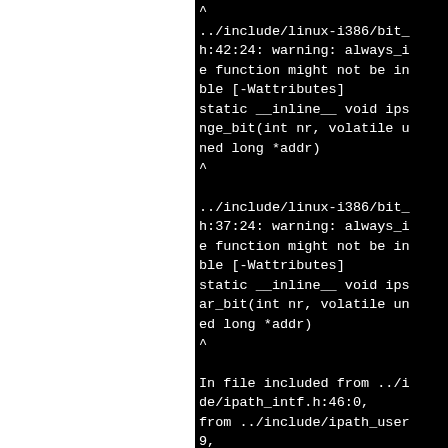[Figure (screenshot): Terminal/compiler output showing C compiler warnings about always_inline function not being inlinable [-Wattributes] for static __inline__ void ips functions (ips_nge_bit and ips_ar_bit), followed by 'In file included from' chain showing ipath_intf.h:46:0, ipath_user header, psm_user.h:45, ips_proto_connect.c, and linux-i386/sys header. The left portion of the screen is white (cropped/split view).]